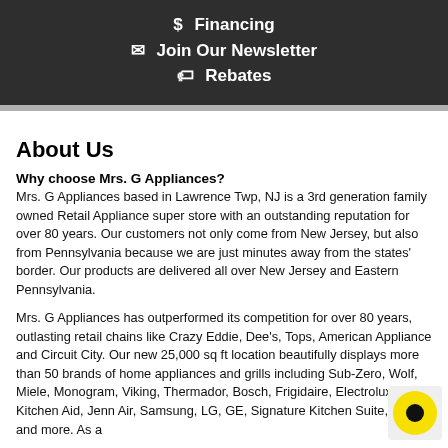$ Financing
✉ Join Our Newsletter
🏷 Rebates
About Us
Why choose Mrs. G Appliances?
Mrs. G Appliances based in Lawrence Twp, NJ is a 3rd generation family owned Retail Appliance super store with an outstanding reputation for over 80 years. Our customers not only come from New Jersey, but also from Pennsylvania because we are just minutes away from the states' border. Our products are delivered all over New Jersey and Eastern Pennsylvania.
Mrs. G Appliances has outperformed its competition for over 80 years, outlasting retail chains like Crazy Eddie, Dee's, Tops, American Appliance and Circuit City. Our new 25,000 sq ft location beautifully displays more than 50 brands of home appliances and grills including Sub-Zero, Wolf, Miele, Monogram, Viking, Thermador, Bosch, Frigidaire, Electrolux, Kitchen Aid, Jenn Air, Samsung, LG, GE, Signature Kitchen Suite, Sharp, and more. As a